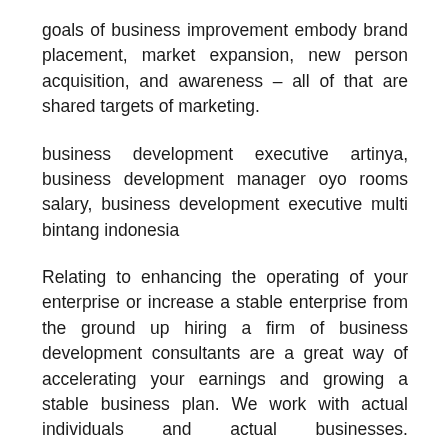goals of business improvement embody brand placement, market expansion, new person acquisition, and awareness – all of that are shared targets of marketing.
business development executive artinya, business development manager oyo rooms salary, business development executive multi bintang indonesia
Relating to enhancing the operating of your enterprise or increase a stable enterprise from the ground up hiring a firm of business development consultants are a great way of accelerating your earnings and growing a stable business plan. We work with actual individuals and actual businesses. CleverAdvice is a workforce of experts in technique, advertising, technology and regulatory